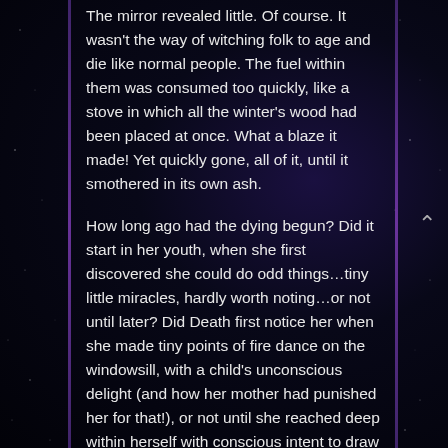The mirror revealed little. Of course. It wasn't the way of witching folk to age and die like normal people. The fuel within them was consumed too quickly, like a stove in which all the winter's wood had been placed at once. What a blaze it made! Yet quickly gone, all of it, until it smothered in its own ash.
How long ago had the dying begun? Did it start in her youth, when she first discovered she could do odd things…tiny little miracles, hardly worth noting…or not until later? Did Death first notice her when she made tiny points of fire dance on the windowsill, with a child's unconscious delight (and how her mother had punished her for that!), or not until she reached deep within herself with conscious intent to draw strength from her very soul — from that central font of spiritual power which mystics called the athra — and to bend it